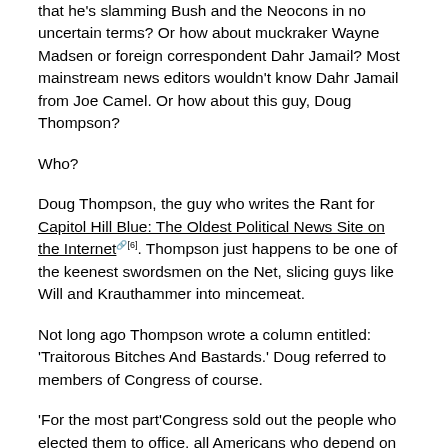that he's slamming Bush and the Neocons in no uncertain terms? Or how about muckraker Wayne Madsen or foreign correspondent Dahr Jamail? Most mainstream news editors wouldn't know Dahr Jamail from Joe Camel. Or how about this guy, Doug Thompson?
Who?
Doug Thompson, the guy who writes the Rant for Capitol Hill Blue: The Oldest Political News Site on the Internet [6]. Thompson just happens to be one of the keenest swordsmen on the Net, slicing guys like Will and Krauthammer into mincemeat.
Not long ago Thompson wrote a column entitled: 'Traitorous Bitches And Bastards.' Doug referred to members of Congress of course.
'For the most part'Congress sold out the people who elected them to office, all Americans who depend on Congress to serve as a check and balance on the excesses of the White House and the Constitution of the United States'the bitches and bastards who 'serve' in Congress should take a long, hard look at the blood on their hands. They stand guilty of high crimes and treason against the United States of America. They are traitors.